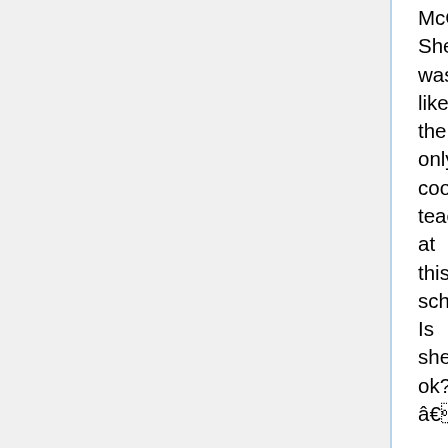McGee? She was like the only cool teacher at this school. Is she ok?â
Ms. Adkins: âOh dear, I can see Iâm going to have to explain this all to you. Ms. McGee wonât be teaching you art anymore because the school has fired her. You see children, last week, when Ms. McGee took you to the South Park Museum of Art, some students saw nude artworks that parents found very objectionable. Some parents who found out that their children had been exposed to nudity on a school field trip told Principal Victoria about the incident, and Principal Victoria fired Ms. McGee.â
Kyle: âWhat?! Who the hell told on Ms. McGee? Whose ignorant redneck parents got her fired?â
Ms. Adkins: âThe parents have